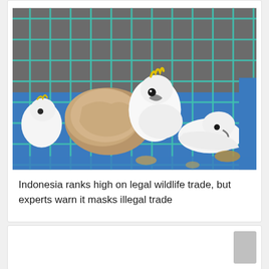[Figure (photo): White cockatoos with yellow crests inside a blue wire cage, with a large rock visible. The birds appear to be lying or sitting in the cage. The photo is taken from above.]
Indonesia ranks high on legal wildlife trade, but experts warn it masks illegal trade